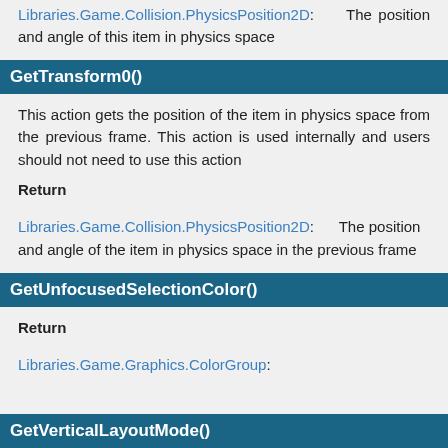Libraries.Game.Collision.PhysicsPosition2D: The position and angle of this item in physics space
GetTransform0()
This action gets the position of the item in physics space from the previous frame. This action is used internally and users should not need to use this action
Return
Libraries.Game.Collision.PhysicsPosition2D: The position and angle of the item in physics space in the previous frame
GetUnfocusedSelectionColor()
Return
Libraries.Game.Graphics.ColorGroup:
GetVerticalLayoutMode()